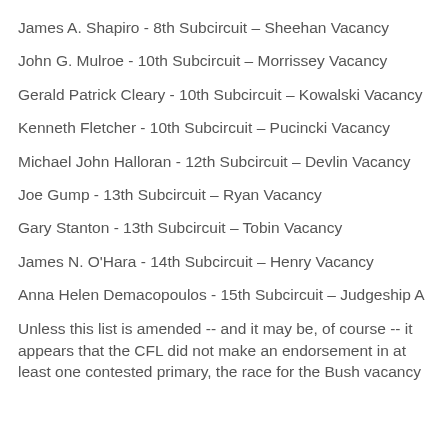James A. Shapiro - 8th Subcircuit – Sheehan Vacancy
John G. Mulroe - 10th Subcircuit – Morrissey Vacancy
Gerald Patrick Cleary - 10th Subcircuit – Kowalski Vacancy
Kenneth Fletcher - 10th Subcircuit – Pucincki Vacancy
Michael John Halloran - 12th Subcircuit – Devlin Vacancy
Joe Gump - 13th Subcircuit – Ryan Vacancy
Gary Stanton - 13th Subcircuit – Tobin Vacancy
James N. O'Hara - 14th Subcircuit – Henry Vacancy
Anna Helen Demacopoulos - 15th Subcircuit – Judgeship A
Unless this list is amended -- and it may be, of course -- it appears that the CFL did not make an endorsement in at least one contested primary, the race for the Bush vacancy